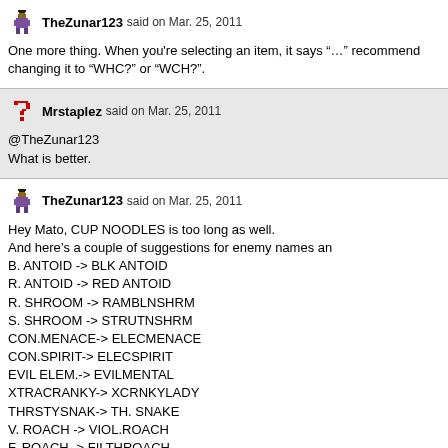TheZunar123 said on Mar. 25, 2011
One more thing. When you're selecting an item, it says "..." recommend changing it to "WHC?" or "WCH?".
Mrstaplez said on Mar. 25, 2011
@TheZunar123
What is better.
TheZunar123 said on Mar. 25, 2011
Hey Mato, CUP NOODLES is too long as well.
And here's a couple of suggestions for enemy names an
B. ANTOID -> BLK ANTOID
R. ANTOID -> RED ANTOID
R. SHROOM -> RAMBLNSHRM
S. SHROOM -> STRUTNSHRM
CON.MENACE-> ELECMENACE
CON.SPIRIT-> ELECSPIRIT
EVIL ELEM.-> EVILMENTAL
XTRACRANKY-> XCRNKYLADY
THRSTYSNAK-> TH. SNAKE
V. ROACH -> VIOL.ROACH
F. ROACH -> FILTHROACH